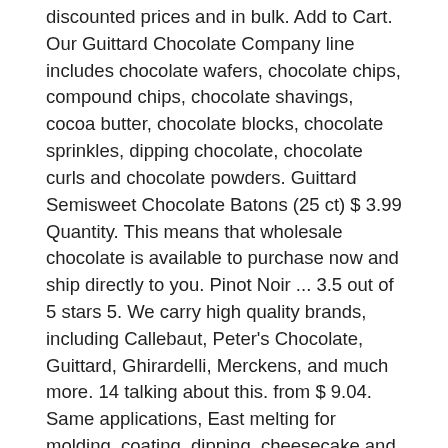discounted prices and in bulk. Add to Cart. Our Guittard Chocolate Company line includes chocolate wafers, chocolate chips, compound chips, chocolate shavings, cocoa butter, chocolate blocks, chocolate sprinkles, dipping chocolate, chocolate curls and chocolate powders. Guittard Semisweet Chocolate Batons (25 ct) $ 3.99 Quantity. This means that wholesale chocolate is available to purchase now and ship directly to you. Pinot Noir ... 3.5 out of 5 stars 5. We carry high quality brands, including Callebaut, Peter's Chocolate, Guittard, Ghirardelli, Merckens, and much more. 14 talking about this. from $ 9.04. Same applications, East melting for molding, coating, dipping, cheesecake and fountains, Easy melting vanilla flavored red coating, Cookie chunk - easy to weigh out and melt. EST 1868 * San Francisco Five Generations of Chocolate Making in San Francisco Wilton. Home > Guittard Chocolate Company Sort By: Apeels, Creamy White Item #102574 Apeels, Dark Chocolate Flavored Item #101817 Apeels,